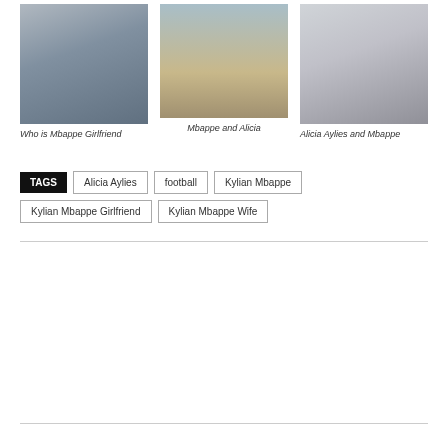[Figure (photo): Photo of a young woman with long braids wearing a floral top and blue jeans, posed against a railing]
Who is Mbappe Girlfriend
[Figure (photo): Photo of a woman in a bikini standing on a beach]
Mbappe and Alicia
[Figure (photo): Photo of a woman wearing a colorful poncho-style top with a blue bag]
Alicia Aylies and Mbappe
TAGS
Alicia Aylies
football
Kylian Mbappe
Kylian Mbappe Girlfriend
Kylian Mbappe Wife